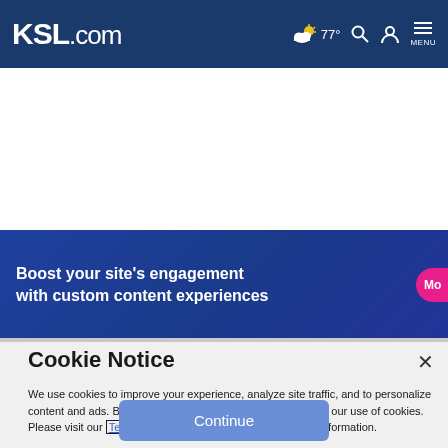KSL.com — 77° — Search — Account — MENU
[Figure (screenshot): Advertisement banner: 'Boost your site's engagement with custom content experiences' with a pink 'Mo...' button on a dark blue background]
Cookie Notice
We use cookies to improve your experience, analyze site traffic, and to personalize content and ads. By continuing to use our site, you consent to our use of cookies. Please visit our Terms of Use and  Privacy Policy for more information.
Continue